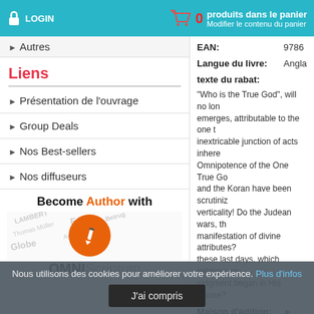LOGIN | 0 produits dans le panier | Modifier le contenu du panier
▶ Autres
Liens
▶ Présentation de l'ouvrage
▶ Group Deals
▶ Nos Best-sellers
▶ Nos diffuseurs
[Figure (logo): Become Author with OMNIScriptum banner with orange pencil circle and publisher watermark logos]
| Label | Value |
| --- | --- |
| EAN: | 9786... |
| Langue du livre: | Angla... |
| texte du rabat: | "Who is the True God", will no lon... emerges, attributable to the one t... inextricable junction of acts inhere... Omnipotence of the One True Go... and the Koran have been scrutiniz... verticality! Do the Judean wars, th... manifestation of divine attributes?... these last days, which religious gr... judgment began in His House? |
| Maison d'édition: | ▶ Bles... |
| Site Web: | ▶ http... |
| de (auteur) : | Sam... |
| Numéro de pages: | 216 |
| Publié le: | 19-02... |
| Stock: | Dispo... |
| Catégorie: | ▶ Reli... |
Nous utilisons des cookies pour améliorer votre expérience. Plus d'infos
J'ai compris